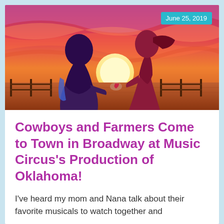[Figure (illustration): Illustrated artwork showing two silhouetted figures holding hands, viewed from behind, against a vibrant sunset sky with swirling red, orange, and purple wave patterns. A fence is visible in the background. A date badge 'June 25, 2019' appears in the top-right corner on a teal/cyan background.]
Cowboys and Farmers Come to Town in Broadway at Music Circus's Production of Oklahoma!
I've heard my mom and Nana talk about their favorite musicals to watch together and